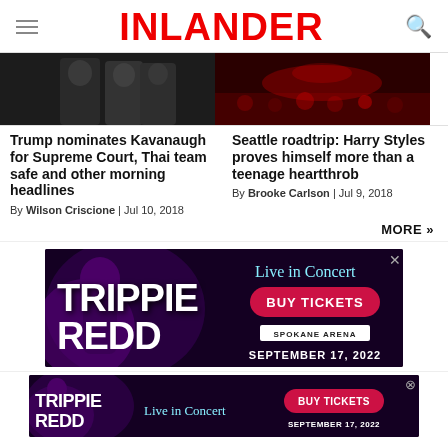INLANDER
[Figure (photo): Two people in dark clothing against dark background (left) and red-lit concert crowd (right)]
Trump nominates Kavanaugh for Supreme Court, Thai team safe and other morning headlines
By Wilson Criscione | Jul 10, 2018
Seattle roadtrip: Harry Styles proves himself more than a teenage heartthrob
By Brooke Carlson | Jul 9, 2018
MORE »
[Figure (photo): Trippie Redd Live in Concert advertisement - BUY TICKETS - Spokane Arena - September 17, 2022]
[Figure (photo): Trippie Redd Live in Concert advertisement (smaller) - BUY TICKETS - September 17, 2022]